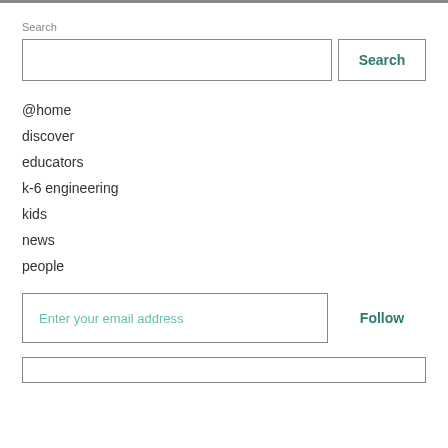Search
@home
discover
educators
k-6 engineering
kids
news
people
Enter your email address
Follow